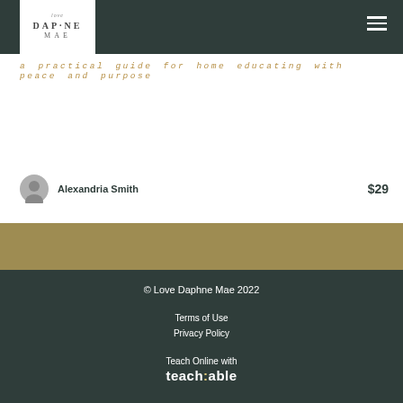Love Daphne Mae
a practical guide for home educating with peace and purpose
Alexandria Smith   $29
© Love Daphne Mae 2022
Terms of Use
Privacy Policy
Teach Online with
teach:able